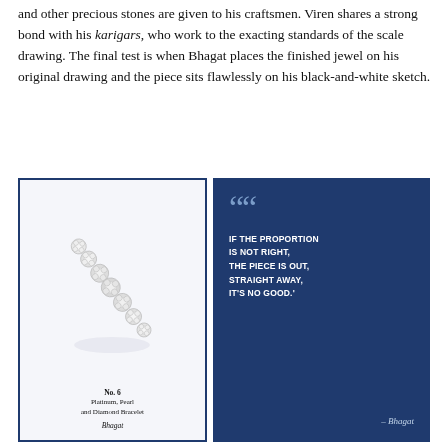and other precious stones are given to his craftsmen. Viren shares a strong bond with his karigars, who work to the exacting standards of the scale drawing. The final test is when Bhagat places the finished jewel on his original drawing and the piece sits flawlessly on his black-and-white sketch.
[Figure (photo): A Platinum, Pearl and Diamond Bracelet arranged in a curved arc shape on a light background, labeled No. 6, Platinum, Pearl and Diamond Bracelet, signed Bhagat]
[Figure (other): Dark navy blue panel with large quotation marks and pull quote: IF THE PROPORTION IS NOT RIGHT, THE PIECE IS OUT, STRAIGHT AWAY, IT'S NO GOOD. - Bhagat]